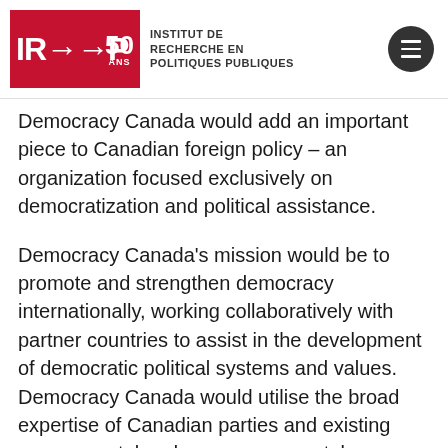IRPP 50 ANS — INSTITUT DE RECHERCHE EN POLITIQUES PUBLIQUES
Democracy Canada would add an important piece to Canadian foreign policy – an organization focused exclusively on democratization and political assistance.
Democracy Canada's mission would be to promote and strengthen democracy internationally, working collaboratively with partner countries to assist in the development of democratic political systems and values. Democracy Canada would utilise the broad expertise of Canadian parties and existing governmental and non-governmental organizations to assist developing democracies abroad. In addition, Democracy Canada would maintain its own non-partisna bureau staff of democracy experts, ex-